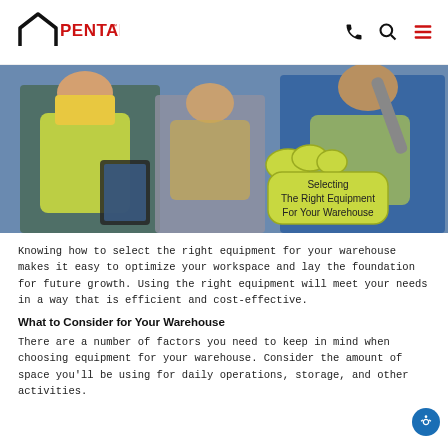[Figure (logo): Pentalift logo with house/pentagon outline shape and red PENTALIFT text]
[Figure (photo): Three warehouse workers in safety vests, one holding a tablet, one holding a wrench, with a yellow-green cloud bubble overlay text 'Selecting The Right Equipment For Your Warehouse']
Knowing how to select the right equipment for your warehouse makes it easy to optimize your workspace and lay the foundation for future growth. Using the right equipment will meet your needs in a way that is efficient and cost-effective.
What to Consider for Your Warehouse
There are a number of factors you need to keep in mind when choosing equipment for your warehouse. Consider the amount of space you'll be using for daily operations, storage, and other activities.